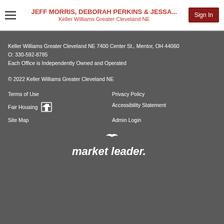JEFF MORRIS, DEBORAH PERKINS & JESSA... Keller Williams Greater Cleveland NE
Keller Williams Greater Cleveland NE 7400 Center St., Mentor, OH 44060
O: 330-592-8785
Each Office is Independently Owned and Operated
© 2022 Keller Williams Greater Cleveland NE
Terms of Use
Privacy Policy
Fair Housing
Accessibility Statement
Site Map
Admin Login
[Figure (logo): Market Leader logo in white italic text with a stylized bird above]